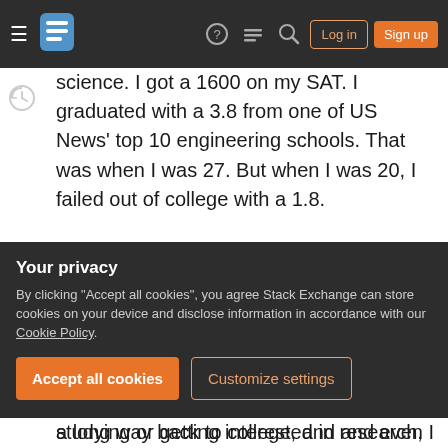Stack Exchange navigation bar with hamburger menu, logo, help, chat, search icons, Log in and Sign up buttons
science. I got a 1600 on my SAT. I graduated with a 3.8 from one of US News' top 10 engineering schools. That was when I was 27. But when I was 20, I failed out of college with a 1.8.
You see, the first time I went to college, I had no idea why I was there. Everyone else went to college, so I guess I should too. I had a vague notion I wanted to build rockets, but had no idea what that entailed. Consequentially, instead of studying or getting interested in research, I joined a fraternity and got interested in Tekken and weed. I
Your privacy
By clicking "Accept all cookies", you agree Stack Exchange can store cookies on your device and disclose information in accordance with our Cookie Policy.
Accept all cookies
Customize settings
a long way back to college, and and even longer